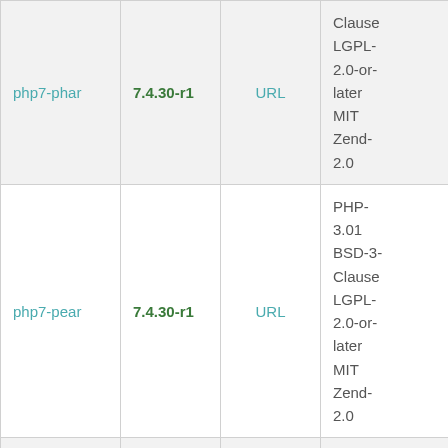| Package | Version | Source | License |
| --- | --- | --- | --- |
| php7-phar | 7.4.30-r1 | URL | Clause
LGPL-2.0-or-later
MIT
Zend-2.0 |
| php7-pear | 7.4.30-r1 | URL | PHP-3.01
BSD-3-Clause
LGPL-2.0-or-later
MIT
Zend-2.0 |
| php7-xmlreader | 7.4.30-r1 | URL | PHP-3.01
BSD-3-Clause
LGPL-2.0-or-later
... |